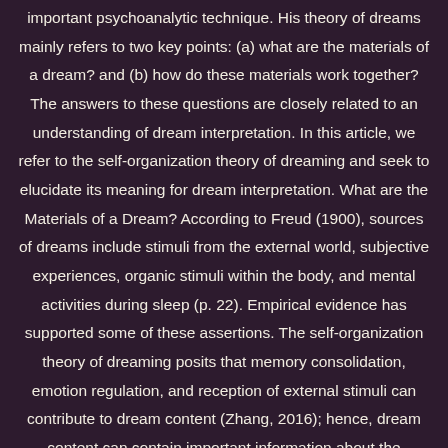important psychoanalytic technique. His theory of dreams mainly refers to two key points: (a) what are the materials of a dream? and (b) how do these materials work together? The answers to these questions are closely related to an understanding of dream interpretation. In this article, we refer to the self-organization theory of dreaming and seek to elucidate its meaning for dream interpretation. What are the Materials of a Dream? According to Freud (1900), sources of dreams include stimuli from the external world, subjective experiences, organic stimuli within the body, and mental activities during sleep (p. 22). Empirical evidence has supported some of these assertions. The self-organization theory of dreaming posits that memory consolidation, emotion regulation, and reception of external stimuli can contribute to dream content (Zhang, 2016); hence, dream content can contain important information about the dreamer. Consider, for example, the case of memory consolidation